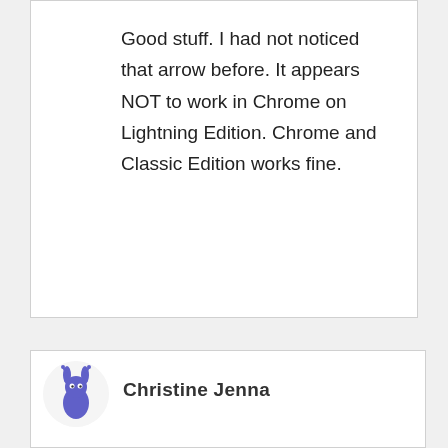Good stuff. I had not noticed that arrow before. It appears NOT to work in Chrome on Lightning Edition. Chrome and Classic Edition works fine.
[Figure (illustration): Avatar/logo icon of a cartoon ant or rabbit character in blue/purple color inside a circle, next to the name Christine Jenna]
Christine Jenna
[Figure (screenshot): Newsletter signup popup overlay with red background and dashed border. Contains title JOIN MY NEWSLETTER, subtitle text, Enter name input field, and Enter your email input field. Has a close (x) button in top right corner.]
JOIN MY NEWSLETTER
Subscribe to my mailing list and get interesting updates in your inbox.
Enter name
Enter your email